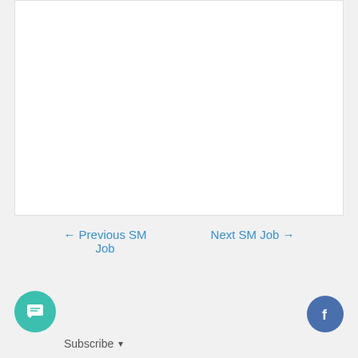[Figure (other): White content box area at the top of the page]
← Previous SM Job
Next SM Job →
[Figure (other): Chat bubble icon button (teal/green circle with message icon)]
Subscribe ▾
[Figure (logo): Facebook icon button (blue circle with Facebook 'f' logo)]